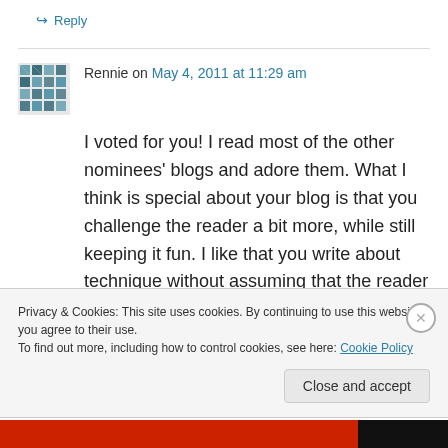↪ Reply
Rennie on May 4, 2011 at 11:29 am
I voted for you! I read most of the other nominees' blogs and adore them. What I think is special about your blog is that you challenge the reader a bit more, while still keeping it fun. I like that you write about technique without assuming that the reader doesn't know anything. There are
Privacy & Cookies: This site uses cookies. By continuing to use this website, you agree to their use.
To find out more, including how to control cookies, see here: Cookie Policy
Close and accept